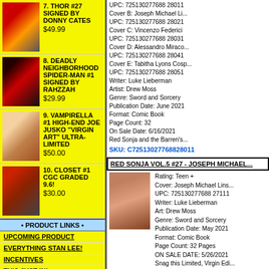7. THOR #27 SIGNED BY DONNY CATES $49.99
8. DEADLY NEIGHBORHOOD SPIDER-MAN #1 SIGNED BY RAHZZAH $29.99
9. VAMPIRELLA #1 HIGH-END JOE JUSKO "VIRGIN ART" ULTRA-LIMITED $50.00
10. CLOSET #1 CGC GRADED 9.6! $30.00
• PRODUCT LINKS •
UPCOMING PRODUCT
EVERYTHING STAN LEE!
INCENTIVES
THIS JUST IN!
COMIC BOOKS
TRADE PAPERBACKS
HARDCOVERS
UPC: 725130277688 28011
Cover B: Joseph Michael Li...
UPC: 725130277688 28021
Cover C: Vincenzo Federici
UPC: 725130277688 28031
Cover D: Alessandro Miraco...
UPC: 725130277688 28041
Cover E: Tabitha Lyons Cosp...
UPC: 725130277688 28051
Writer: Luke Lieberman
Artist: Drew Moss
Genre: Sword and Sorcery
Publication Date: June 2021
Format: Comic Book
Page Count: 32
On Sale Date: 6/16/2021
Red Sonja and the Barren's...
SKU: C72513027768828011
RED SONJA VOL.5 #27 - JOSEPH MICHAEL...
Rating: Teen +
Cover: Joseph Michael Lins...
UPC: 725130277688 27111
Writer: Luke Lieberman
Art: Drew Moss
Genre: Sword and Sorcery
Publication Date: May 2021
Format: Comic Book
Page Count: 32 Pages
ON SALE DATE: 5/26/2021
Snag this Limited, Virgin Edi...
SKU: C72513027768827111
RED SONJA VOL.5 #27 - JAE LEE LIMITED...